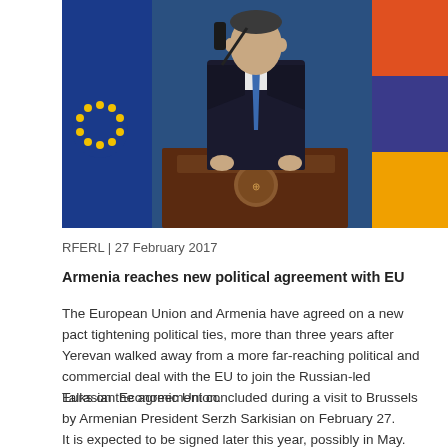[Figure (photo): A man in a dark suit with a blue tie stands at a wooden podium with a microphone in front of him. The EU flag and an Armenian or similar flag are visible in the background.]
RFERL | 27 February 2017
Armenia reaches new political agreement with EU
The European Union and Armenia have agreed on a new pact tightening political ties, more than three years after Yerevan walked away from a more far-reaching political and commercial deal with the EU to join the Russian-led Eurasian Economic Union.
Talks on the agreement concluded during a visit to Brussels by Armenian President Serzh Sarkisian on February 27.
It is expected to be signed later this year, possibly in May.